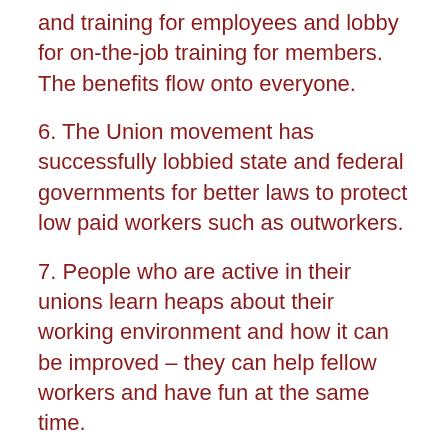and training for employees and lobby for on-the-job training for members. The benefits flow onto everyone.
6. The Union movement has successfully lobbied state and federal governments for better laws to protect low paid workers such as outworkers.
7. People who are active in their unions learn heaps about their working environment and how it can be improved – they can help fellow workers and have fun at the same time.
8. In tough economic times, employers will try to cut jobs and increase productivity – it is unions who make sure that big companies don't put profit before people.
9. Unions help to break down barriers in workplaces – they unite workers and create a community so workers don't